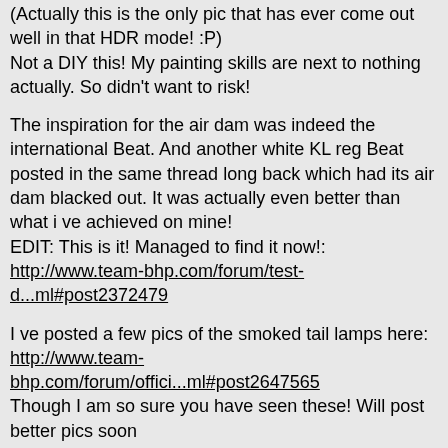(Actually this is the only pic that has ever come out well in that HDR mode! :P)
Not a DIY this! My painting skills are next to nothing actually. So didn't want to risk!
The inspiration for the air dam was indeed the international Beat. And another white KL reg Beat posted in the same thread long back which had its air dam blacked out. It was actually even better than what i ve achieved on mine! EDIT: This is it! Managed to find it now!: http://www.team-bhp.com/forum/test-d...ml#post2372479
I ve posted a few pics of the smoked tail lamps here:
http://www.team-bhp.com/forum/offici...ml#post2647565
Though I am so sure you have seen these! Will post better pics soon
Quote:
Originally Posted by salbin
I think you inspiration is this one: :)
http://www.team-bhp.com/forum/attach...essories-5.jpg

Go for a projector setup with smoked reflectors for the head lights to complement the black-red theme :D